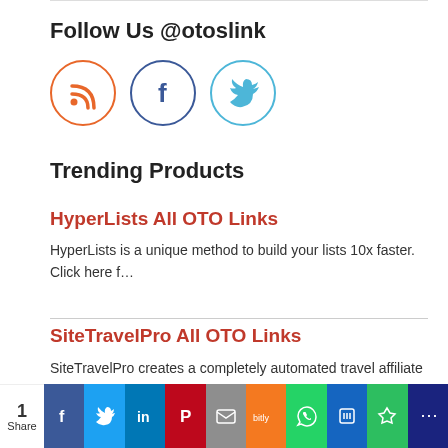Follow Us @otoslink
[Figure (illustration): Three circular social media icons: RSS (orange border, orange RSS icon), Facebook (dark blue border, blue F icon), Twitter (light blue border, light blue bird icon)]
Trending Products
HyperLists All OTO Links
HyperLists is a unique method to build your lists 10x faster. Click here f…
SiteTravelPro All OTO Links
SiteTravelPro creates a completely automated travel affiliate website in ju…
1 Share — social share buttons: Facebook, Twitter, LinkedIn, Pinterest, Email, Bitly, WhatsApp, Queue, Evernote, More